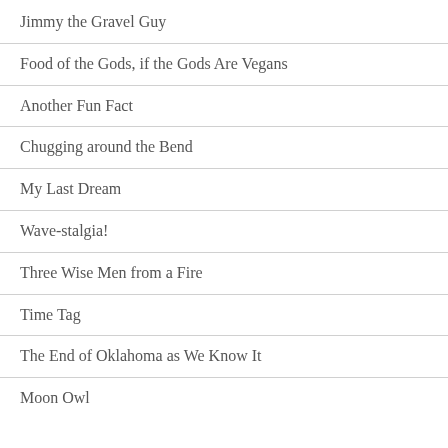Jimmy the Gravel Guy
Food of the Gods, if the Gods Are Vegans
Another Fun Fact
Chugging around the Bend
My Last Dream
Wave-stalgia!
Three Wise Men from a Fire
Time Tag
The End of Oklahoma as We Know It
Moon Owl